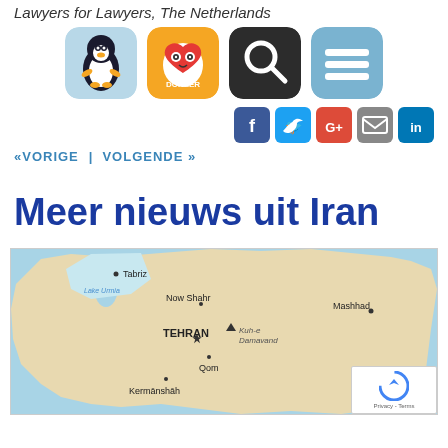Lawyers for Lawyers, The Netherlands
[Figure (logo): Four app-style icons: penguin logo (Lawyers for Lawyers), DONEER heart owl icon, search magnifier icon, and hamburger menu icon]
[Figure (infographic): Social media icons row: Facebook, Twitter, Google+, Email, LinkedIn]
«VORIGE | VOLGENDE »
Meer nieuws uit Iran
[Figure (map): Map of Iran showing cities: Tabriz, Lake Urmia, Now Shahr, Tehran, Kuh-e Damavand, Mashhad, Qom, Kermanshah]